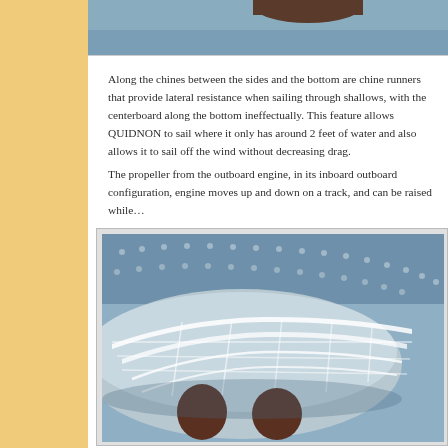[Figure (illustration): Top portion of a ship illustration, cropped at top of page showing the upper hull against a blue-grey background]
Along the chines between the sides and the bottom are chine runners that provide lateral resistance when sailing through shallows, with the centerboard along the bottom ineffectually. This feature allows QUIDNON to sail where it only has around 2 feet of water and also allows it to sail off the wind without decreasing drag.
The propeller from the outboard engine, in its inboard outboard configuration, engine moves up and down on a track, and can be raised while...
[Figure (illustration): 3D rendering of the bottom hull of QUIDNON boat showing chine runners, the flat bottom hull with white structural framework, brown rudders/skegs, viewed from below at an angle against a light blue background]